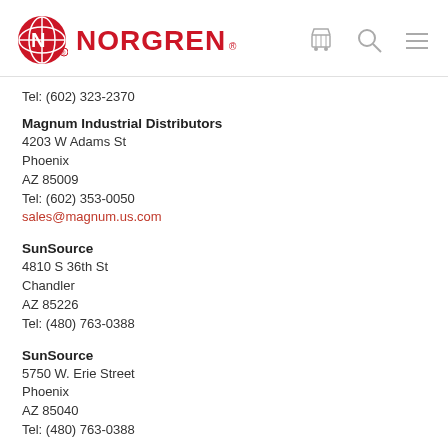[Figure (logo): Norgren logo with red globe icon and red NORGREN text, with shopping cart, search, and hamburger menu icons]
Tel: (602) 323-2370
Magnum Industrial Distributors
4203 W Adams St
Phoenix
AZ 85009
Tel: (602) 353-0050
sales@magnum.us.com
SunSource
4810 S 36th St
Chandler
AZ 85226
Tel: (480) 763-0388
SunSource
5750 W. Erie Street
Phoenix
AZ 85040
Tel: (480) 763-0388